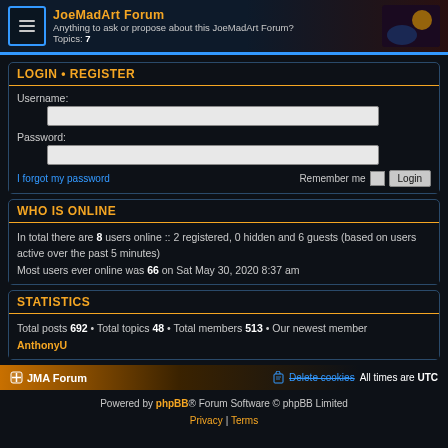JoeMadArt Forum - Anything to ask or propose about this JoeMadArt Forum? Topics: 7
LOGIN • REGISTER
Username:
Password:
I forgot my password | Remember me | Login
WHO IS ONLINE
In total there are 8 users online :: 2 registered, 0 hidden and 6 guests (based on users active over the past 5 minutes)
Most users ever online was 66 on Sat May 30, 2020 8:37 am
STATISTICS
Total posts 692 • Total topics 48 • Total members 513 • Our newest member AnthonyU
JMA Forum | Delete cookies | All times are UTC
Powered by phpBB® Forum Software © phpBB Limited
Privacy | Terms